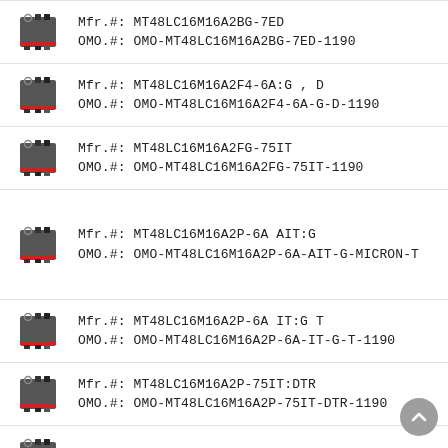Mfr.#: MT48LC16M16A2BG-7ED
OMO.#: OMO-MT48LC16M16A2BG-7ED-1190
Mfr.#: MT48LC16M16A2F4-6A:G , D
OMO.#: OMO-MT48LC16M16A2F4-6A-G-D-1190
Mfr.#: MT48LC16M16A2FG-75IT
OMO.#: OMO-MT48LC16M16A2FG-75IT-1190
Mfr.#: MT48LC16M16A2P-6A AIT:G
OMO.#: OMO-MT48LC16M16A2P-6A-AIT-G-MICRON-T
Mfr.#: MT48LC16M16A2P-6A IT:G T
OMO.#: OMO-MT48LC16M16A2P-6A-IT-G-T-1190
Mfr.#: MT48LC16M16A2P-75IT:DTR
OMO.#: OMO-MT48LC16M16A2P-75IT-DTR-1190
Mfr.#: MT48LC16M16A2P-7ED